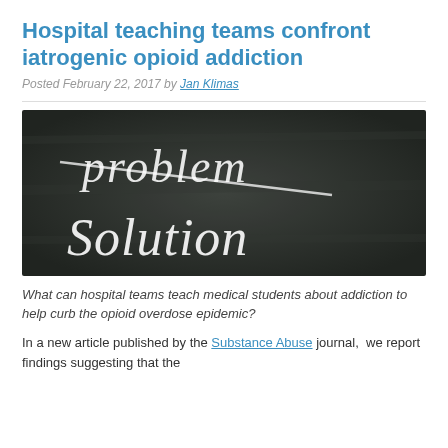Hospital teaching teams confront iatrogenic opioid addiction
Posted February 22, 2017 by Jan Klimas
[Figure (photo): Chalkboard with 'problem' crossed out and 'Solution' written below in chalk handwriting]
What can hospital teams teach medical students about addiction to help curb the opioid overdose epidemic?
In a new article published by the Substance Abuse journal, we report findings suggesting that the